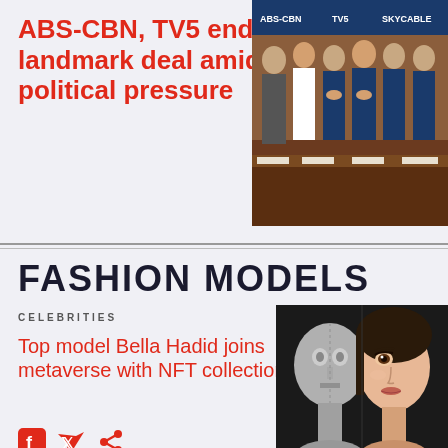ABS-CBN, TV5 end landmark deal amid political pressure
[Figure (photo): Group photo of executives shaking hands at a signing table with nameplates, inside a formal meeting room]
FASHION MODELS
CELEBRITIES
Top model Bella Hadid joins metaverse with NFT collection
[Figure (photo): Split image of a human face — left half is a 3D rendered grey mannequin/robot, right half is a real woman's face with warm skin tone, against a black background]
[Figure (other): Social media sharing icons: Facebook, Twitter, Share]